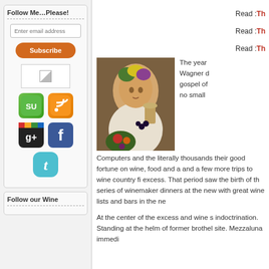Follow Me…Please!
Enter email address
Subscribe
[Figure (illustration): Broken image placeholder box with small image icon]
[Figure (illustration): StumbleUpon social media icon - green rounded square with SU logo]
[Figure (illustration): RSS feed icon - orange rounded square with RSS symbol]
[Figure (illustration): Google Plus icon - black rounded square with g+ text]
[Figure (illustration): Facebook icon - blue rounded square with f letter]
[Figure (illustration): Twitter icon - teal rounded square with t letter]
Follow our Wine
Read :Th
Read :Th
Read :Th
[Figure (illustration): Classical painting of Bacchus/young man with flower crown holding wine glass, with fruits, Caravaggio style]
The year Wagner gospel of no small Computers and the literally thousands their good fortune on wine, food and a and a few more trips to wine country fi excess. That period saw the birth of th series of winemaker dinners at the new with great wine lists and bars in the ne
At the center of the excess and wine s indoctrination. Standing at the helm of former brothel site. Mezzaluna immedi